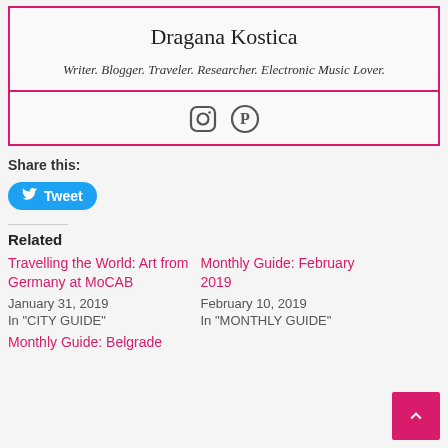Dragana Kostica
Writer. Blogger. Traveler. Researcher. Electronic Music Lover.
[Figure (infographic): Instagram and Pinterest social media icons]
Share this:
Tweet
Related
Travelling the World: Art from Germany at MoCAB
January 31, 2019
In "CITY GUIDE"
Monthly Guide: February 2019
February 10, 2019
In "MONTHLY GUIDE"
Monthly Guide: Belgrade